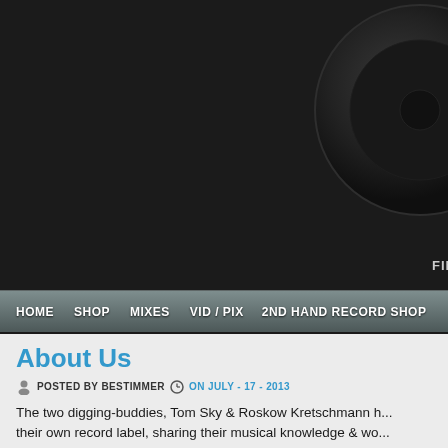[Figure (screenshot): Dark website header background with a partially visible dark circular element (vinyl record or knob) in the top-right corner, and 'FIN' text label near bottom-right of the header area.]
HOME  SHOP  MIXES  VID / PIX  2ND HAND RECORD SHOP
About Us
POSTED BY BESTIMMER  ON JULY - 17 - 2013
The two digging-buddies, Tom Sky & Roskow Kretschmann h... their own record label, sharing their musical knowledge & wo... gained through 30-years record digging experience.